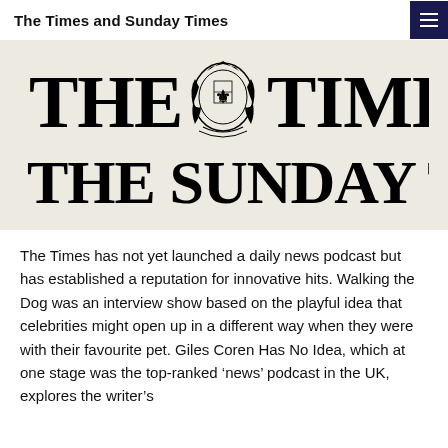The Times and Sunday Times
[Figure (logo): The Times and The Sunday Times newspaper logos in bold serif font with royal coat of arms crest between THE and TIMES on a light beige background]
The Times has not yet launched a daily news podcast but has established a reputation for innovative hits. Walking the Dog was an interview show based on the playful idea that celebrities might open up in a different way when they were with their favourite pet. Giles Coren Has No Idea, which at one stage was the top-ranked ‘news’ podcast in the UK, explores the writer’s